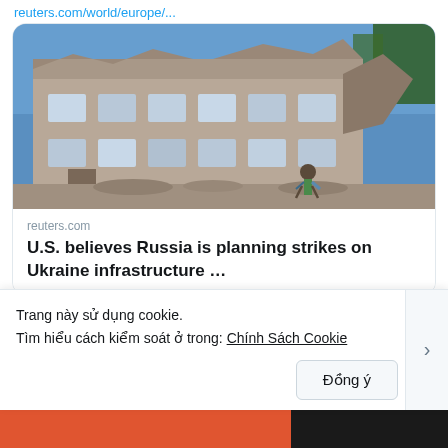reuters.com/world/europe/...
[Figure (photo): Destroyed building with blown-out windows and rubble, person walking in front under blue sky]
reuters.com
U.S. believes Russia is planning strikes on Ukraine infrastructure …
1  2
Tran Dinh H...  @tdh...  · 22 thg 8
Chin... fla... milit... and th...
Trang này sử dụng cookie.
Tìm hiểu cách kiểm soát ở trong: Chính Sách Cookie
Đồng ý